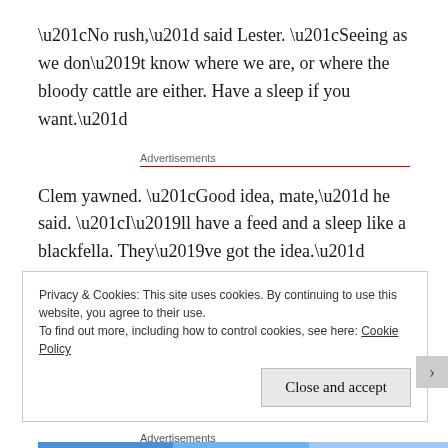“No rush,” said Lester. “Seeing as we don’t know where we are, or where the bloody cattle are either. Have a sleep if you want.”
Advertisements
Clem yawned. “Good idea, mate,” he said. “I’ll have a feed and a sleep like a blackfella. They’ve got the idea.”
Privacy & Cookies: This site uses cookies. By continuing to use this website, you agree to their use.
To find out more, including how to control cookies, see here: Cookie Policy
Close and accept
Advertisements